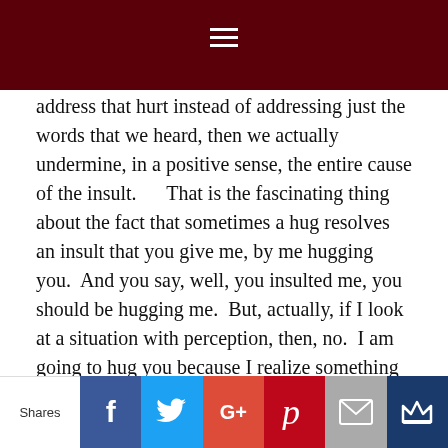≡
address that hurt instead of addressing just the words that we heard, then we actually undermine, in a positive sense, the entire cause of the insult.     That is the fascinating thing about the fact that sometimes a hug resolves an insult that you give me, by me hugging you.  And you say, well, you insulted me, you should be hugging me.  But, actually, if I look at a situation with perception, then, no.  I am going to hug you because I realize something else is going on.

If someone comes to me and asks me for advice on a
Shares | f | 🐦 | G+ | P | ✉ | 👑